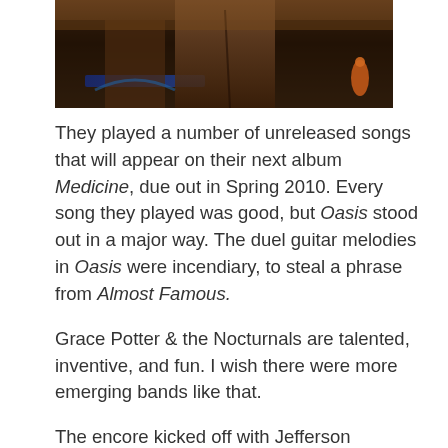[Figure (photo): Concert photo showing performers on stage, partially cropped, with dark background and warm stage lighting. An orange bottle or prop visible on the right side.]
They played a number of unreleased songs that will appear on their next album Medicine, due out in Spring 2010. Every song they played was good, but Oasis stood out in a major way. The duel guitar melodies in Oasis were incendiary, to steal a phrase from Almost Famous.
Grace Potter & the Nocturnals are talented, inventive, and fun. I wish there were more emerging bands like that.
The encore kicked off with Jefferson Airplane's psychedelic anthem, White Rabbit. It was great, just like everything else they did, but the stage lighting was pretty trippy; props to the lighting guy.
The night concluded with a long jam on the seriously